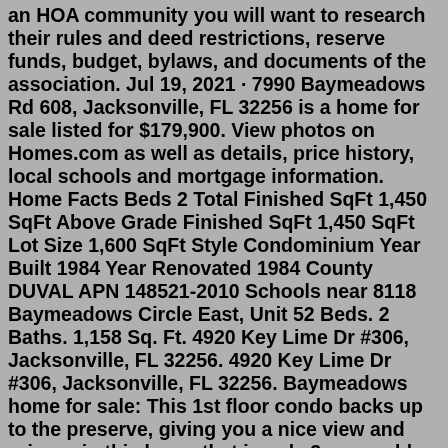an HOA community you will want to research their rules and deed restrictions, reserve funds, budget, bylaws, and documents of the association. Jul 19, 2021 · 7990 Baymeadows Rd 608, Jacksonville, FL 32256 is a home for sale listed for $179,900. View photos on Homes.com as well as details, price history, local schools and mortgage information. Home Facts Beds 2 Total Finished SqFt 1,450 SqFt Above Grade Finished SqFt 1,450 SqFt Lot Size 1,600 SqFt Style Condominium Year Built 1984 Year Renovated 1984 County DUVAL APN 148521-2010 Schools near 8118 Baymeadows Circle East, Unit 52 Beds. 2 Baths. 1,158 Sq. Ft. 4920 Key Lime Dr #306, Jacksonville, FL 32256. 4920 Key Lime Dr #306, Jacksonville, FL 32256. Baymeadows home for sale: This 1st floor condo backs up to the preserve, giving you a nice view and privacy in this home that is only 3 years old. Kitchen and bathrooms have quartz countertops. 8166 MEADOW WALK LN, Jacksonville, FL 32256. $480,000. 4 bds. 3 ba. 2,532 sqft. - House for sale. Open: Sat. 11am-5pm. ELLIS Plan. Equinox East